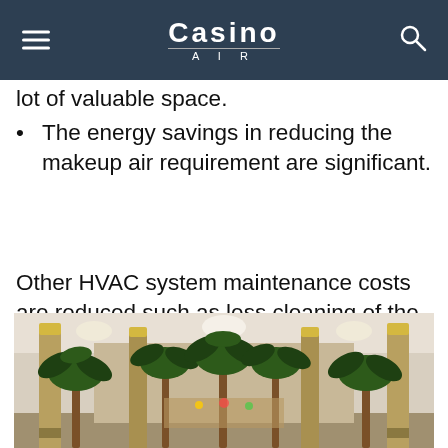Casino AIR
lot of valuable space.
The energy savings in reducing the makeup air requirement are significant.
Other HVAC system maintenance costs are reduced such as less cleaning of the ducts due to virtually no mold and mildew accumulation.
[Figure (photo): Interior of a casino with tall palm trees, ornate gold-topped columns, and a grand corridor leading to the gaming floor.]